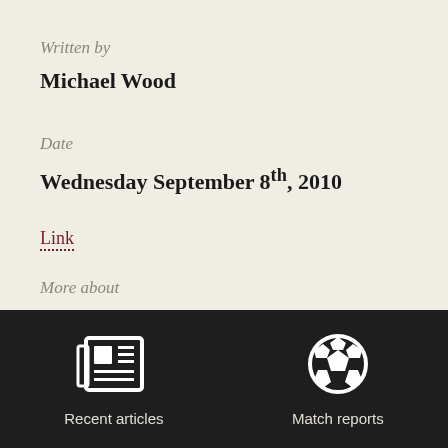Written by
Michael Wood
Date
Wednesday September 8th, 2010
Link
More about
Mark Lawn, Media, Media Management, Peter Taylor, The Tech...
[Figure (illustration): Dark footer bar with newspaper icon labeled 'Recent articles' and soccer ball icon labeled 'Match reports']